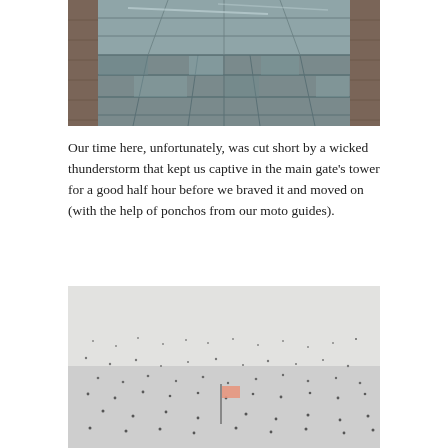[Figure (photo): Overhead view of large stone/marble tile plaza or courtyard with rectangular slate-grey tiles arranged in a grid pattern, bordered by reddish brick pavement on the sides. Light reflections visible on the tiles.]
Our time here, unfortunately, was cut short by a wicked thunderstorm that kept us captive in the main gate's tower for a good half hour before we braved it and moved on (with the help of ponchos from our moto guides).
[Figure (photo): Misty, overcast scene showing a large open area with scattered people appearing as small dots, and a flagpole with a pinkish/orange flag visible in the lower center of the image. The scene is washed out and grey due to rain or fog.]